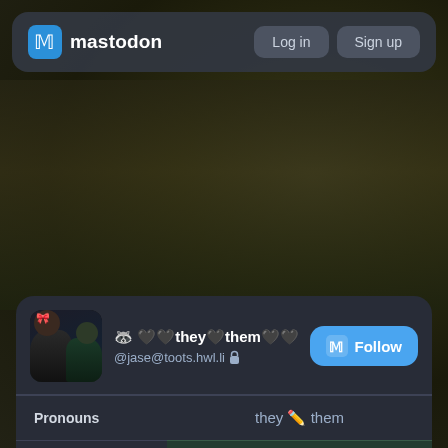mastodon  Log in  Sign up
[Figure (screenshot): Mastodon profile page for @jase@toots.hwl.li showing profile card with display name '🦝 🖤🖤they🖤them🖤🖤🖤', profile fields including Pronouns: they ✏️ them, Website: jasewolf.com (verified), Coffeewolf: mastodon.coffee/@wolf (verified), Discord: chat.hwl.li, and twit.hwl.li]
| Field | Value |
| --- | --- |
| Pronouns | they ✏️ them |
| Website | ✔ jasewolf.com |
| Coffeewolf | ✔ mastodon.coffee/@wolf |
| 🎮 (Discord) | chat.hwl.li |
| 🔥 (icon) | twit.hwl.li |